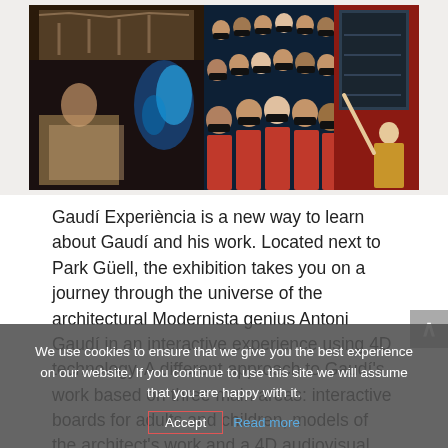[Figure (photo): Composite photo with three panels: left panel shows a dinosaur skeleton and a dark atmospheric scene with a person at a desk and blue glowing effects; center panel shows an audience wearing 3D glasses seated in rows; right panel shows a red-lit exhibition space with a child touching an interactive screen.]
Gaudí Experiència is a new way to learn about Gaudí and his work. Located next to Park Güell, the exhibition takes you on a journey through the universe of the architectural Modernista genius Antoni Gaudí in an interactive experience using 4D technology. A different approach to Gaudí's work based on three main areas: interactive boards for adults and children, models of the architect's work and a 4D audiovisual piece.
We use cookies to ensure that we give you the best experience on our website. If you continue to use this site we will assume that you are happy with it.